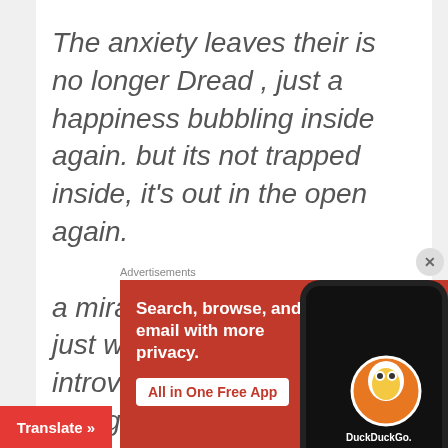The anxiety leaves their is no longer Dread , just a happiness bubbling inside again. but its not trapped inside, it's out in the open again.

a miracle is happening just wait and see , these introverted people are being set free. A voice that was once
Advertisements
[Figure (infographic): DuckDuckGo advertisement banner with orange background showing 'Search, browse, and email with more privacy. All in One Free App' text with a phone graphic and DuckDuckGo logo]
Translate »